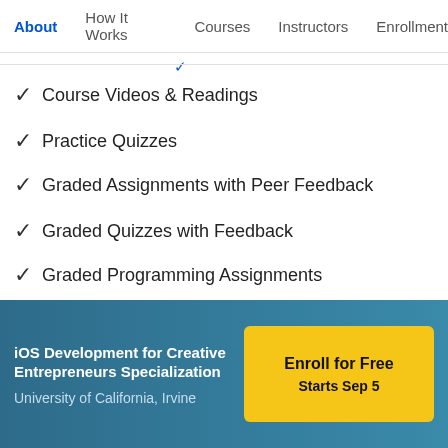About | How It Works | Courses | Instructors | Enrollment
Course Videos & Readings
Practice Quizzes
Graded Assignments with Peer Feedback
Graded Quizzes with Feedback
Graded Programming Assignments
Enroll for Free
Starts Sep 5
iOS Development for Creative Entrepreneurs Specialization
University of California, Irvine
Enroll for Free
Starts Sep 5